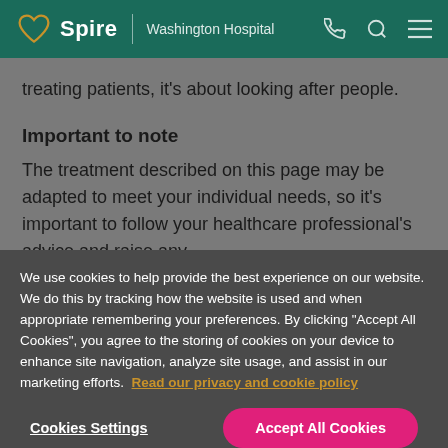Spire | Washington Hospital
treating patients, it's about looking after people.
Important to note
The treatment described on this page may be adapted to meet your individual needs, so it's important to follow your healthcare professional's advice and raise any
We use cookies to help provide the best experience on our website. We do this by tracking how the website is used and when appropriate remembering your preferences. By clicking "Accept All Cookies", you agree to the storing of cookies on your device to enhance site navigation, analyze site usage, and assist in our marketing efforts. Read our privacy and cookie policy
Cookies Settings
Accept All Cookies